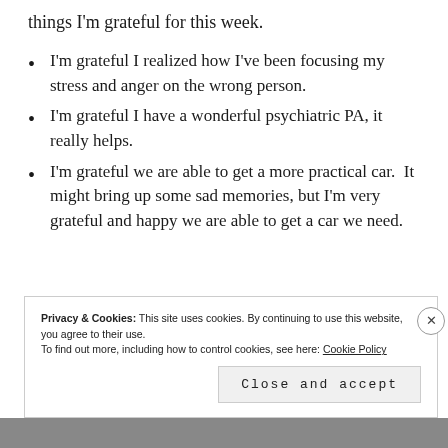things I'm grateful for this week.
I'm grateful I realized how I've been focusing my stress and anger on the wrong person.
I'm grateful I have a wonderful psychiatric PA, it really helps.
I'm grateful we are able to get a more practical car.  It might bring up some sad memories, but I'm very grateful and happy we are able to get a car we need.
Privacy & Cookies: This site uses cookies. By continuing to use this website, you agree to their use.
To find out more, including how to control cookies, see here: Cookie Policy
Close and accept